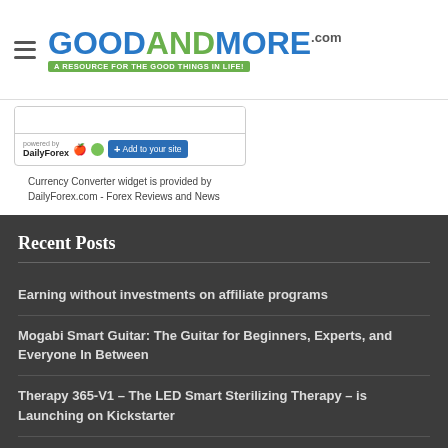GoodAndMore.com — A RESOURCE FOR THE GOOD THINGS IN LIFE!
[Figure (screenshot): DailyForex currency converter widget with 'powered by DailyForex' logo, Apple and Android icons, and 'Add to your site' button]
Currency Converter widget is provided by DailyForex.com - Forex Reviews and News
Recent Posts
Earning without investments on affiliate programs
Mogabi Smart Guitar: The Guitar for Beginners, Experts, and Everyone In Between
Therapy 365-V1 – The LED Smart Sterilizing Therapy – is Launching on Kickstarter